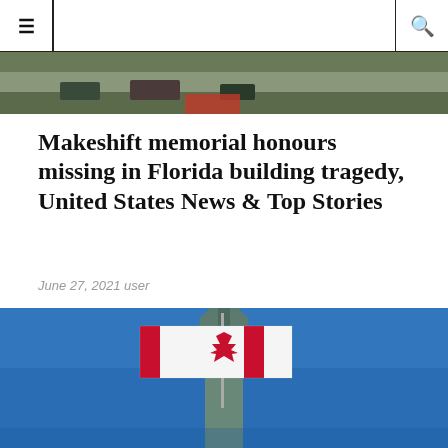☰  🔍
[Figure (photo): Top partial image of a scene, green/dark tones with red accent visible at bottom]
Makeshift memorial honours missing in Florida building tragedy, United States News & Top Stories
June 27, 2021 user
SURFSIDE, UNITED STATES (AFP) – The scores of people missing in the collapse of the beachfront condo building in Florida...
[Figure (photo): Canadian flag waving against a blue sky with a building spire (Parliament Hill, Ottawa) in the background]